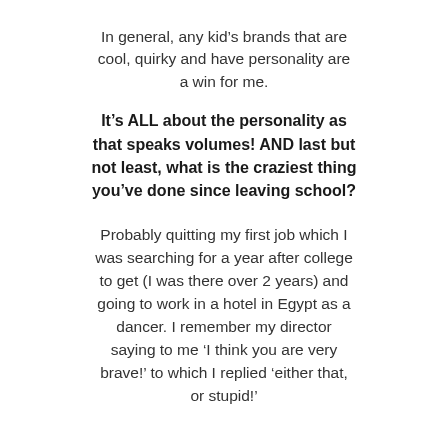In general, any kid’s brands that are cool, quirky and have personality are a win for me.
It’s ALL about the personality as that speaks volumes! AND last but not least, what is the craziest thing you’ve done since leaving school?
Probably quitting my first job which I was searching for a year after college to get (I was there over 2 years) and going to work in a hotel in Egypt as a dancer. I remember my director saying to me ‘I think you are very brave!’ to which I replied ‘either that, or stupid!’